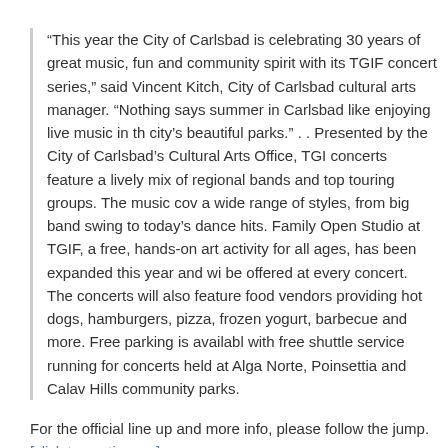“This year the City of Carlsbad is celebrating 30 years of great music, fun and community spirit with its TGIF concert series,” said Vincent Kitch, City of Carlsbad cultural arts manager. “Nothing says summer in Carlsbad like enjoying live music in the city’s beautiful parks.” . . Presented by the City of Carlsbad’s Cultural Arts Office, TGIF concerts feature a lively mix of regional bands and top touring groups. The music covers a wide range of styles, from big band swing to today’s dance hits. Family Open Studio at TGIF, a free, hands-on art activity for all ages, has been expanded this year and will be offered at every concert. The concerts will also feature food vendors providing hot dogs, hamburgers, pizza, frozen yogurt, barbecue and more. Free parking is available with free shuttle service running for concerts held at Alga Norte, Poinsettia and Calavera Hills community parks.
For the official line up and more info, please follow the jump. [click to continue…]
{ 0 comments }